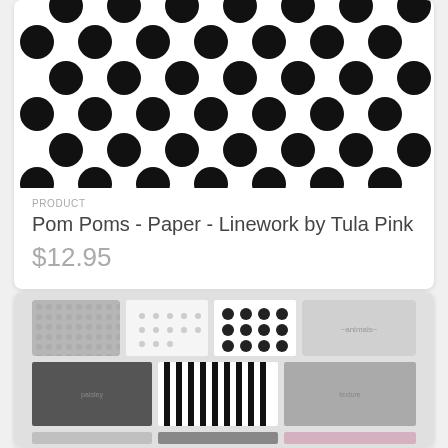[Figure (photo): White fabric with large black polka dots pattern, cropped at top]
PRODUCT
Pom Poms - Paper - Linework by Tula Pink
$12.95
[Figure (photo): Collage of multiple fabric swatches in black, white, gray and purple patterns including florals, stripes, polka dots, pandas, and other designs]